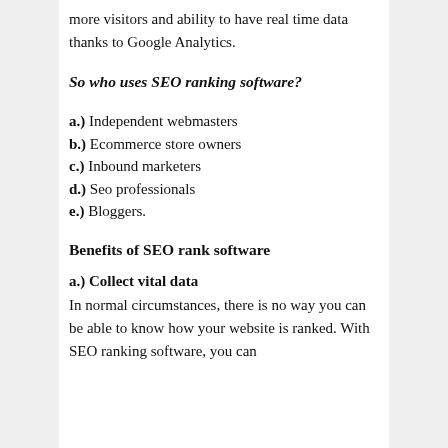more visitors and ability to have real time data thanks to Google Analytics.
So who uses SEO ranking software?
a.) Independent webmasters
b.) Ecommerce store owners
c.) Inbound marketers
d.) Seo professionals
e.) Bloggers.
Benefits of SEO rank software
a.) Collect vital data
In normal circumstances, there is no way you can be able to know how your website is ranked. With SEO ranking software, you can